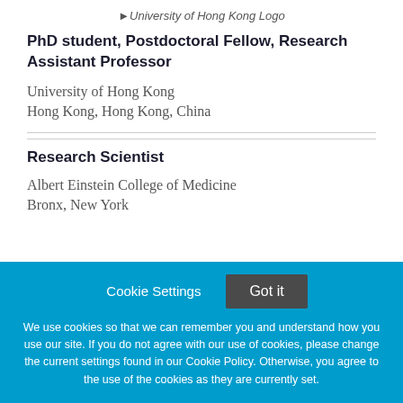[Figure (logo): University of Hong Kong Logo]
PhD student, Postdoctoral Fellow, Research Assistant Professor
University of Hong Kong
Hong Kong, Hong Kong, China
Research Scientist
Albert Einstein College of Medicine
Bronx, New York
Cookie Settings  Got it
We use cookies so that we can remember you and understand how you use our site. If you do not agree with our use of cookies, please change the current settings found in our Cookie Policy. Otherwise, you agree to the use of the cookies as they are currently set.